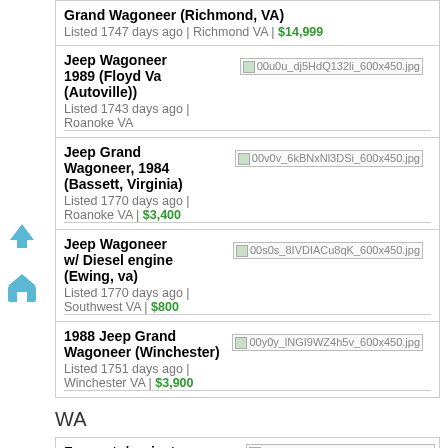Grand Wagoneer (Richmond, VA)
Listed 1747 days ago | Richmond VA | $14,999
Jeep Wagoneer 1989 (Floyd Va (Autoville))
Listed 1743 days ago | Roanoke VA
Jeep Grand Wagoneer, 1984 (Bassett, Virginia)
Listed 1770 days ago | Roanoke VA | $3,400
Jeep Wagoneer w/ Diesel engine (Ewing, va)
Listed 1770 days ago | Southwest VA | $800
1988 Jeep Grand Wagoneer (Winchester)
Listed 1751 days ago | Winchester VA | $3,900
WA
For parts/project (Glenhaven)